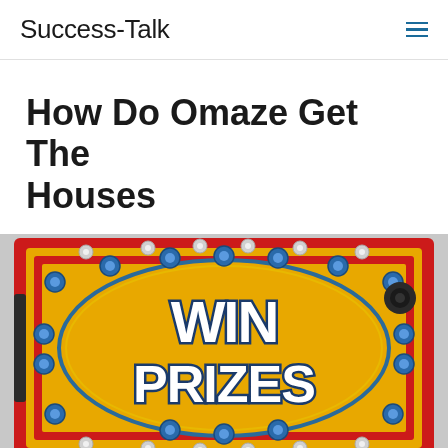Success-Talk
How Do Omaze Get The Houses
[Figure (photo): A colorful carnival/fairground sign with red border and yellow/gold background featuring an oval shape with decorative blue dots and silver star-shaped studs. Inside the oval, bold stylized text reads 'WIN PRIZES' in white and blue lettering with dark outlines.]